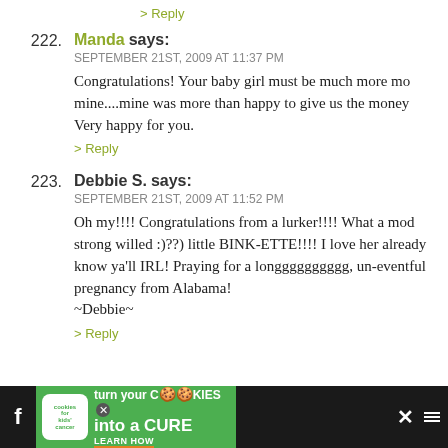> Reply
222. Manda says: SEPTEMBER 21ST, 2009 AT 11:37 PM
Congratulations! Your baby girl must be much more mo mine....mine was more than happy to give us the money Very happy for you.
> Reply
223. Debbie S. says: SEPTEMBER 21ST, 2009 AT 11:52 PM
Oh my!!!! Congratulations from a lurker!!!! What a mod strong willed :)??) little BINK-ETTE!!!! I love her alread know ya'll IRL! Praying for a longggggggggg, un-eventful pregnancy from Alabama!
~Debbie~
> Reply
[Figure (screenshot): Advertisement banner for 'cookies for kids cancer' - turn your cookies into a CURE LEARN HOW, with Facebook and social media icons on dark background]